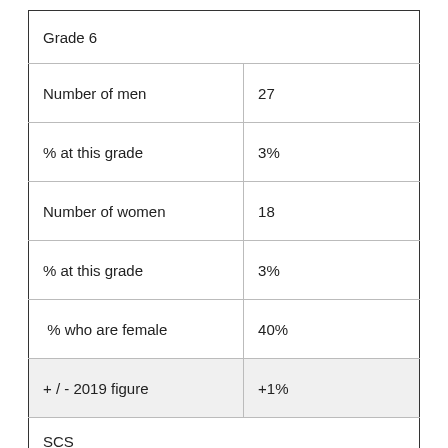| Grade 6 |  |
| Number of men | 27 |
| % at this grade | 3% |
| Number of women | 18 |
| % at this grade | 3% |
|  % who are female | 40% |
| + / - 2019 figure | +1% |
| SCS |  |